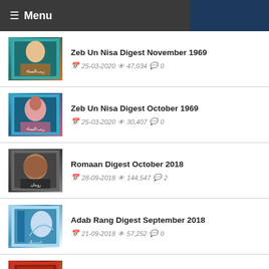☰ Menu
Zeb Un Nisa Digest November 1969 | 25-03-2020 | 47,034 views | 0 comments
Zeb Un Nisa Digest October 1969 | 25-03-2020 | 30,407 views | 0 comments
Romaan Digest October 2018 | 28-09-2018 | 144,547 views | 2 comments
Adab Rang Digest September 2018 | 21-09-2018 | 57,252 views | 0 comments
Chef Times Magazine September 2018 | 21-09-2018 | 75,374 views | 0 comments